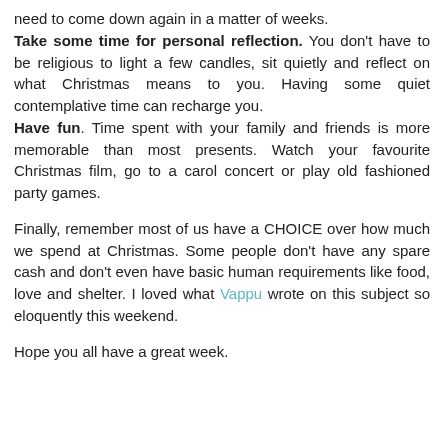need to come down again in a matter of weeks.
Take some time for personal reflection. You don't have to be religious to light a few candles, sit quietly and reflect on what Christmas means to you. Having some quiet contemplative time can recharge you.
Have fun. Time spent with your family and friends is more memorable than most presents. Watch your favourite Christmas film, go to a carol concert or play old fashioned party games.
Finally, remember most of us have a CHOICE over how much we spend at Christmas. Some people don't have any spare cash and don't even have basic human requirements like food, love and shelter. I loved what Vappu wrote on this subject so eloquently this weekend.
Hope you all have a great week.